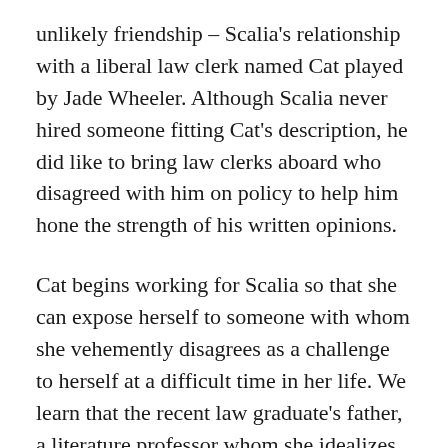unlikely friendship – Scalia's relationship with a liberal law clerk named Cat played by Jade Wheeler. Although Scalia never hired someone fitting Cat's description, he did like to bring law clerks aboard who disagreed with him on policy to help him hone the strength of his written opinions.
Cat begins working for Scalia so that she can expose herself to someone with whom she vehemently disagrees as a challenge to herself at a difficult time in her life. We learn that the recent law graduate's father, a literature professor whom she idealizes, is in a coma, and